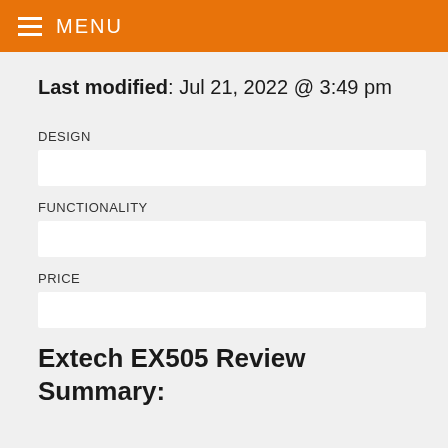MENU
Last modified: Jul 21, 2022 @ 3:49 pm
DESIGN
FUNCTIONALITY
PRICE
Extech EX505 Review Summary: